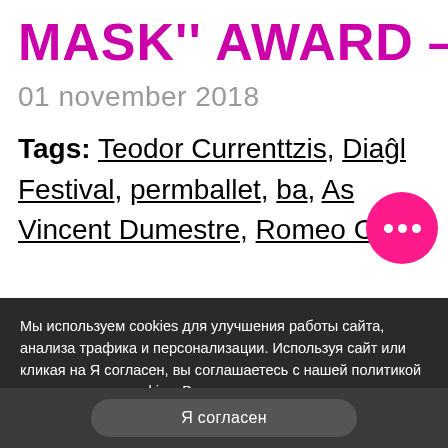MASK'' AWARD — 28
01 november 2018
Tags: Teodor Currenttzis, Diagl... Festival, permballet, ba..., As... Vincent Dumestre, Romeo Cas...
Мы используем cookies для улучшения работы сайта, анализа трафика и персонализации. Используя сайт или кликая на Я согласен, вы соглашаетесь с нашей политикой использования cookies. Вы можете прочитать нашу политику здесь
Я согласен